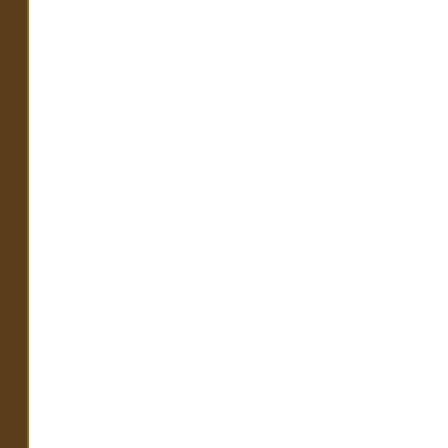and September Lod…
11. Perform such duties…
12. Act as a voting mem…
13. Submit an end of ter…
F. Lodge Trading Post Mana…
1. Removed; Integrate…
G. Lodge Vice-Chief of Com…
1. Removed, Integrate…
H. Lodge Vice-Chief of Publ…
1. Removed, Integrate…
I. Lodge Vice-Chief for Can…
1. Work closely with the…
2. Produce the "Where…
3. Produce and mainta…
4. Monitor the activities…
5. Plan Spring and Fall…
6. Act as a voting mem…
7. Submit an end of ter…
J. Lodge Vice Chief of Danc…
1. Work closely with the…
2. Monitor the activities…